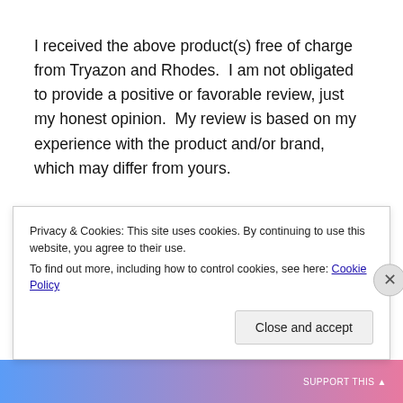I received the above product(s) free of charge from Tryazon and Rhodes.  I am not obligated to provide a positive or favorable review, just my honest opinion.  My review is based on my experience with the product and/or brand, which may differ from yours.
Sponsored Content
Privacy & Cookies: This site uses cookies. By continuing to use this website, you agree to their use.
To find out more, including how to control cookies, see here: Cookie Policy